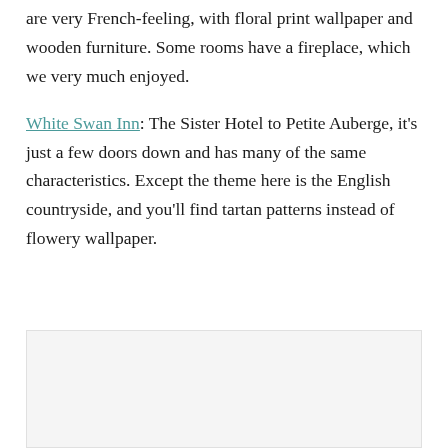are very French-feeling, with floral print wallpaper and wooden furniture. Some rooms have a fireplace, which we very much enjoyed.
White Swan Inn: The Sister Hotel to Petite Auberge, it's just a few doors down and has many of the same characteristics. Except the theme here is the English countryside, and you'll find tartan patterns instead of flowery wallpaper.
[Figure (photo): Image placeholder/empty image area at the bottom of the page]